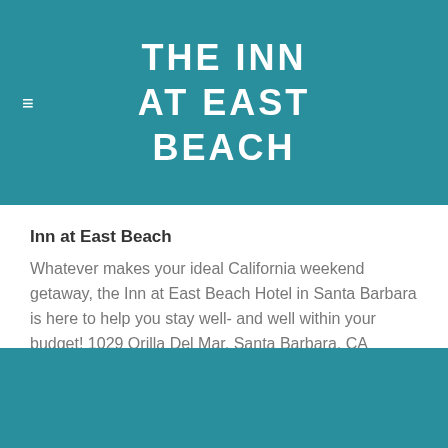THE INN AT EAST BEACH
Inn at East Beach
Whatever makes your ideal California weekend getaway, the Inn at East Beach Hotel in Santa Barbara is here to help you stay well- and well within your budget! 1029 Orilla Del Mar, Santa Barbara, CA 93103. 805.965.0546
www.innateastbeach.com